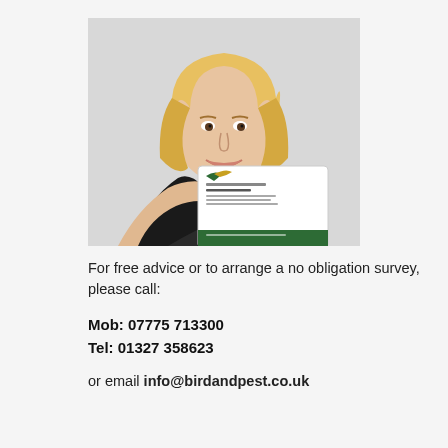[Figure (photo): A blonde woman in a dark blazer smiling and holding up a business card. The business card shows a bird logo and reads 'Bird and Pest...' with the name 'John Benson' and contact details, with a green bar at the bottom.]
For free advice or to arrange a no obligation survey, please call:
Mob: 07775 713300
Tel: 01327 358623
or email info@birdandpest.co.uk